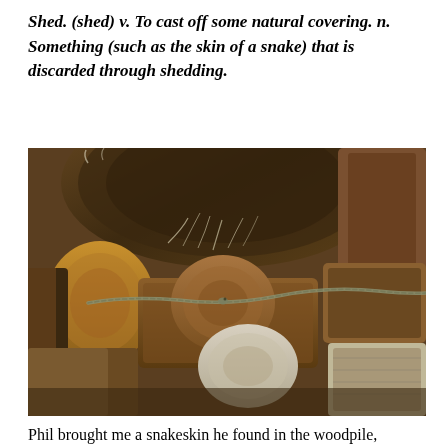Shed. (shed) v. To cast off some natural covering. n. Something (such as the skin of a snake) that is discarded through shedding.
[Figure (photo): A photograph of a stack of cut firewood logs showing their cross-sections and a snake weaving between the logs in the woodpile.]
Phil brought me a snakeskin he found in the woodpile,